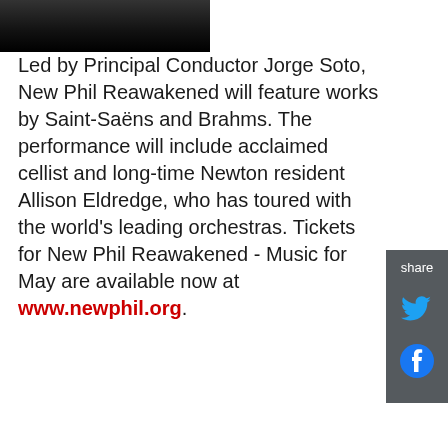[Figure (photo): Partial photo of a person, cropped at the top of the page, dark background]
Led by Principal Conductor Jorge Soto, New Phil Reawakened will feature works by Saint-Saëns and Brahms. The performance will include acclaimed cellist and long-time Newton resident Allison Eldredge, who has toured with the world's leading orchestras. Tickets for New Phil Reawakened - Music for May are available now at www.newphil.org.